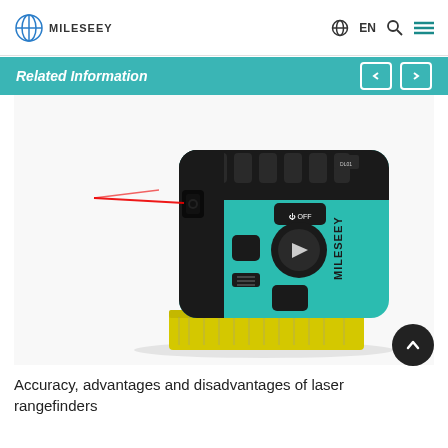MILESEEY | EN
Related Information
[Figure (photo): Close-up product photo of a Mileseey laser rangefinder/tape measure combo device. The device has a teal/turquoise and black body with a MILESEEY logo, multiple control buttons, and a red laser beam emitting from the front. A yellow measuring tape is visible at the bottom.]
Accuracy, advantages and disadvantages of laser rangefinders